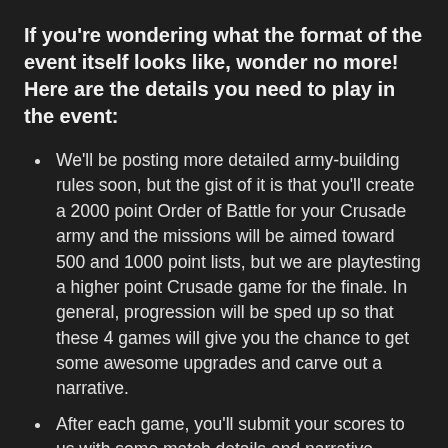If you're wondering what the format of the event itself looks like, wonder no more! Here are the details you need to play in the event:
We'll be posting more detailed army-building rules soon, but the gist of it is that you'll create a 2000 point Order of Battle for your Crusade army and the missions will be aimed toward 500 and 1000 point lists, but we are playtesting a higher point Crusade game for the finale. In general, progression will be sped up so that these 4 games will give you the chance to get some awesome upgrades and carve out a narrative.
After each game, you'll submit your scores to us with some match details and narrative notes. This isn't comprehensive – some Agendas you completed, cool iconic moments